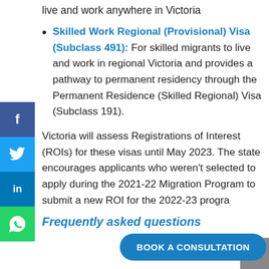live and work anywhere in Victoria
Skilled Work Regional (Provisional) Visa (Subclass 491): For skilled migrants to live and work in regional Victoria and provides a pathway to permanent residency through the Permanent Residence (Skilled Regional) Visa (Subclass 191).
Victoria will assess Registrations of Interest (ROIs) for these visas until May 2023. The state encourages applicants who weren't selected to apply during the 2021-22 Migration Program to submit a new ROI for the 2022-23 progra...
Frequently asked questions